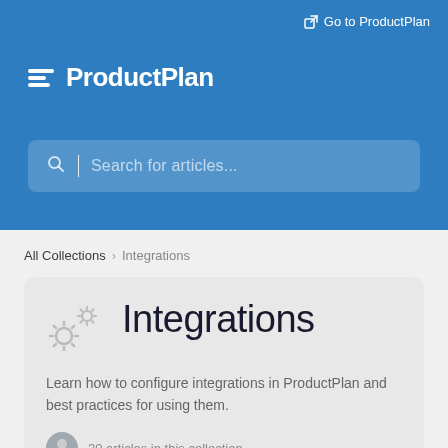Go to ProductPlan
ProductPlan
Search for articles...
All Collections > Integrations
Integrations
Learn how to configure integrations in ProductPlan and best practices for using them.
20 articles in this collection